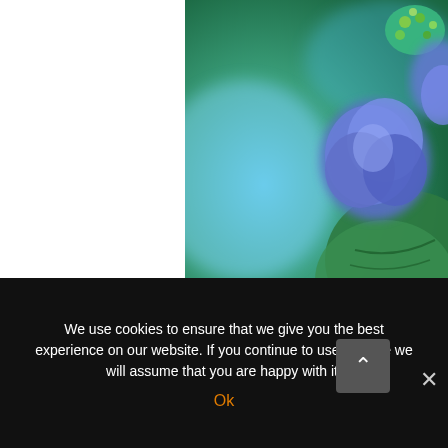[Figure (photo): Close-up photo of blue/purple hydrangea flowers with green leaves against a blurred blue-green background. Watermark 'themicrogardener.' in bottom right corner.]
Gardening is the art that uses flowers and plants a canvas – working with nature provid
We use cookies to ensure that we give you the best experience on our website. If you continue to use this site we will assume that you are happy with it.
Ok